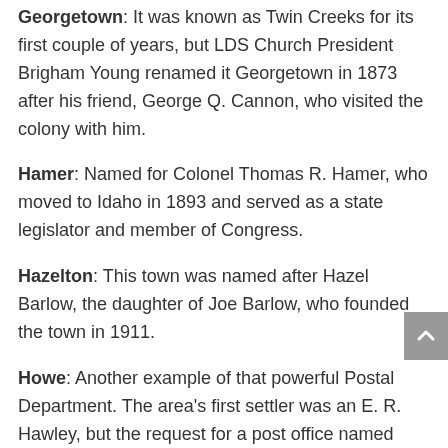Georgetown: It was known as Twin Creeks for its first couple of years, but LDS Church President Brigham Young renamed it Georgetown in 1873 after his friend, George Q. Cannon, who visited the colony with him.
Hamer: Named for Colonel Thomas R. Hamer, who moved to Idaho in 1893 and served as a state legislator and member of Congress.
Hazelton: This town was named after Hazel Barlow, the daughter of Joe Barlow, who founded the town in 1911.
Howe: Another example of that powerful Postal Department. The area's first settler was an E. R. Hawley, but the request for a post office named